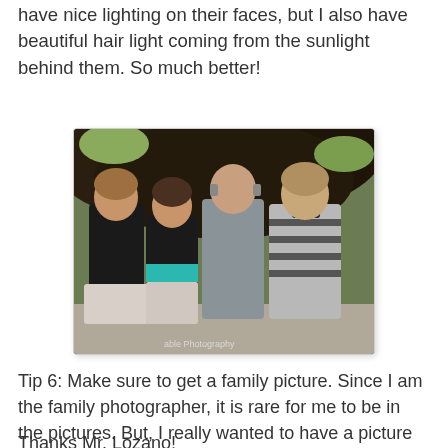have nice lighting on their faces, but I also have beautiful hair light coming from the sunlight behind them. So much better!
[Figure (photo): A family of four posing outdoors. Two women on the left, a tall man in the center-right, and a teenage boy on the far right. Dark foliage in the background with sunlight. A watermark reads 'able Photography' in the lower right.]
Tip 6: Make sure to get a family picture. Since I am the family photographer, it is rare for me to be in the pictures. But, I really wanted to have a picture of the family to remember this day. Luckily my daughter's photography teacher was talking with us (she actually became teacher's assistant - making dad very proud) and I asked him if he would take my camera and grab some images of the four of us.
Thanks Mr. Lozano!